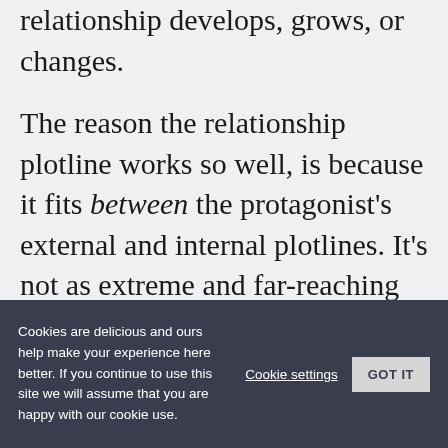relationship develops, grows, or changes.
The reason the relationship plotline works so well, is because it fits between the protagonist's external and internal plotlines. It's not as extreme and far-reaching as the external plotline, but it's not as intimate and deep as the internal plotline. Therefore it adds dimension.
Cookies are delicious and ours help make your experience here better. If you continue to use this site we will assume that you are happy with our cookie use. Cookie settings GOT IT